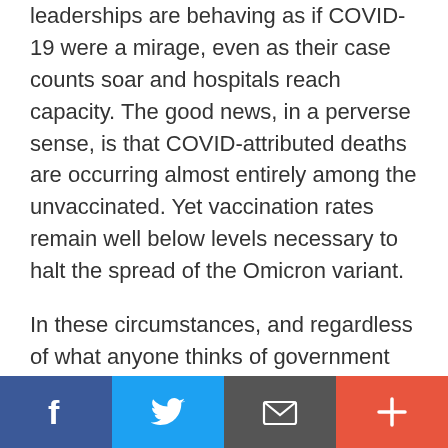leaderships are behaving as if COVID-19 were a mirage, even as their case counts soar and hospitals reach capacity. The good news, in a perverse sense, is that COVID-attributed deaths are occurring almost entirely among the unvaccinated. Yet vaccination rates remain well below levels necessary to halt the spread of the Omicron variant.
In these circumstances, and regardless of what anyone thinks of government policy or communications at any level, we can now be reasonably certain that COVID-19 is not going to be vanquished (that is, reduced to an endemic status like the annual flu) any time soon.
[Figure (infographic): Social media sharing bar with four buttons: Facebook (dark blue, f icon), Twitter (light blue, bird icon), Email (dark grey, envelope icon), More (red-orange, plus icon)]